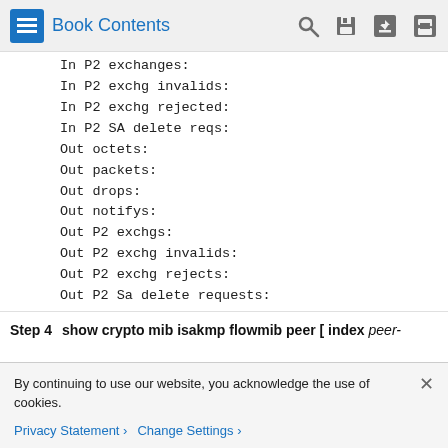Book Contents
In P2 exchanges:
In P2 exchg invalids:
In P2 exchg rejected:
In P2 SA delete reqs:
Out octets:
Out packets:
Out drops:
Out notifys:
Out P2 exchgs:
Out P2 exchg invalids:
Out P2 exchg rejects:
Out P2 Sa delete requests:
Step 4   show crypto mib isakmp flowmib peer [ index peer-
By continuing to use our website, you acknowledge the use of cookies.
Privacy Statement >   Change Settings >